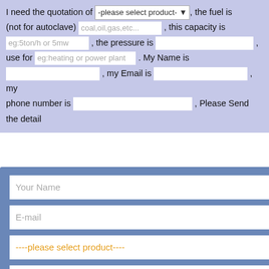I need the quotation of -please select product-, the fuel is (not for autoclave) coal,oil,gas,etc... , this capacity is eg:5ton/h or 5mw , the pressure is , use for eg:heating or power plant . My Name is , my Email is , my phone number is , Please Send the detail
Tailoring Your Products
Your Name
E-mail
----please select product----
capacity
SUBMIT
e boiler is a type of boiler in ugh one or (many) more iner of water. Steam otive is a railway locomotive h a steam engine. These nbustible locomotive_boiler ,locomotive_boiler,locomotive_boiler,locomotive_boiler,locomotive_boil locomotive boiler_ locomotive boiler■■locomotive boiler■locomotive boiler■locomotive boiler ■ locomotive boiler_locomotive 1. Mine company focused on the promotion of professional and large-scale electricity locomotive boiler in the enterprise applications, industrial and mining